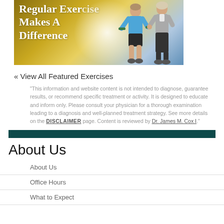[Figure (photo): Banner image with gold-to-blue gradient background showing text 'Regular Exercise Makes A Difference' with two older adults exercising with dumbbells]
« View All Featured Exercises
"This information and website content is not intended to diagnose, guarantee results, or recommend specific treatment or activity. It is designed to educate and inform only. Please consult your physician for a thorough examination leading to a diagnosis and well-planned treatment strategy. See more details on the DISCLAIMER page. Content is reviewed by Dr. James M. Cox I."
About Us
About Us
Office Hours
What to Expect